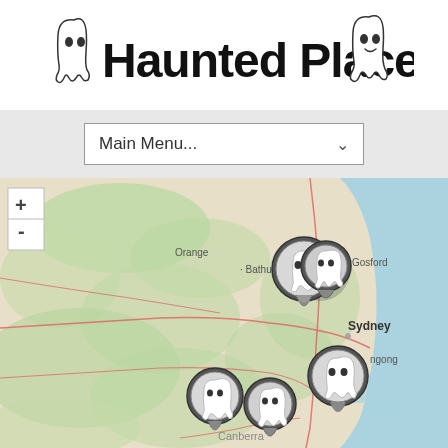[Figure (logo): Haunted Places logo with ghost illustrations on left and right, stylized hand-drawn font text 'Haunted Places']
[Figure (screenshot): Dropdown navigation menu bar with 'Main Menu...' text and chevron arrow on grey background]
[Figure (map): Interactive map of New South Wales, Australia showing haunted places marked with ghost-themed location pins near Sydney, Gosford, Wollongong, Canberra area. Map labels include Orange, Bathurst, Gosford, Sydney, Wollongong (ngong), Canberra. Five ghost pin markers visible. Map has zoom +/- controls in top left.]